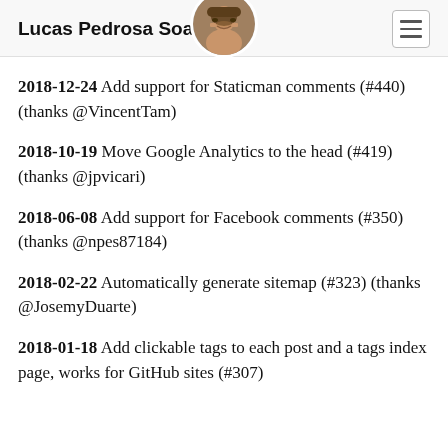Lucas Pedrosa Soares
2018-12-24 Add support for Staticman comments (#440) (thanks @VincentTam)
2018-10-19 Move Google Analytics to the head (#419) (thanks @jpvicari)
2018-06-08 Add support for Facebook comments (#350) (thanks @npes87184)
2018-02-22 Automatically generate sitemap (#323) (thanks @JosemyDuarte)
2018-01-18 Add clickable tags to each post and a tags index page, works for GitHub sites (#307)